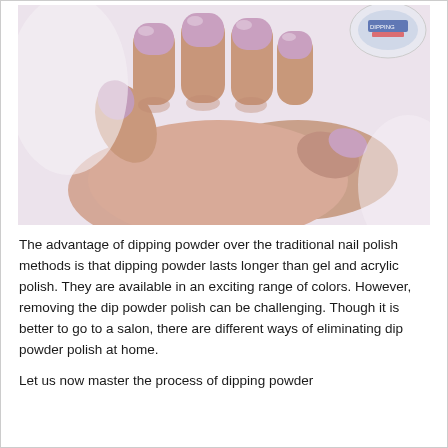[Figure (photo): Close-up photo of two hands with manicured nails painted in light purple/mauve dipping powder polish. A dipping powder product container is partially visible in the upper right corner.]
The advantage of dipping powder over the traditional nail polish methods is that dipping powder lasts longer than gel and acrylic polish. They are available in an exciting range of colors. However, removing the dip powder polish can be challenging. Though it is better to go to a salon, there are different ways of eliminating dip powder polish at home.
Let us now master the process of dipping powder